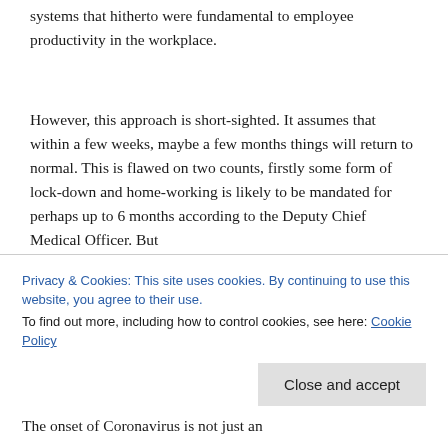systems that hitherto were fundamental to employee productivity in the workplace.
However, this approach is short-sighted. It assumes that within a few weeks, maybe a few months things will return to normal. This is flawed on two counts, firstly some form of lock-down and home-working is likely to be mandated for perhaps up to 6 months according to the Deputy Chief Medical Officer. But
Privacy & Cookies: This site uses cookies. By continuing to use this website, you agree to their use.
To find out more, including how to control cookies, see here: Cookie Policy
The onset of Coronavirus is not just an